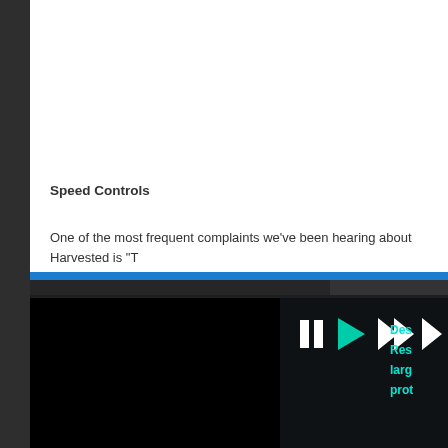Speed Controls
One of the most frequent complaints we've been hearing about Harvested is "T... "the game is too slow-paced." We disagree, and optimized the pace heavily to m... However, we recognize that different players have different needs. So, we pres...
From now on, you can quickly choose between 1x, 1.5x, and 2x speeds. We ar... the future if pacing is still an issue.
We also added a pause button to this panel for good measure.
[Figure (screenshot): Game UI screenshot showing a dark panel with a blue top bar, playback controls including a pause button (two vertical bars), a play button (triangle), double forward (>>), and triple forward (>>>) buttons in white/cyan, and cyan text on the right side reading 'Des...', 'Reso...', 'larg...', 'prot...']